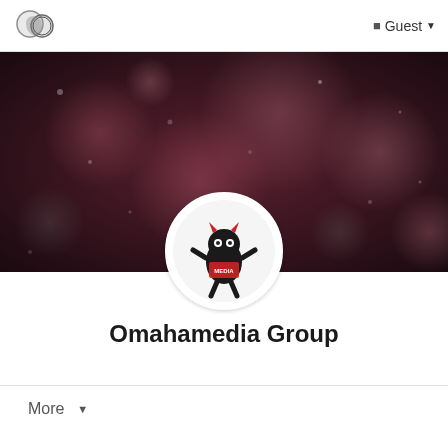Guest
[Figure (logo): Website logo — two overlapping circular/crescent moon shapes in dark tones]
[Figure (photo): Dark banner image with bokeh light spots in dark red/maroon and gray tones]
[Figure (illustration): Omahamedia Group profile picture: a stylized black monster character with red horns holding a media sign, white circular background]
Omahamedia Group
More